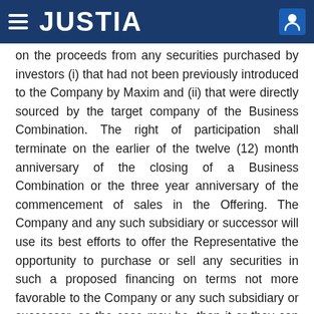JUSTIA
on the proceeds from any securities purchased by investors (i) that had not been previously introduced to the Company by Maxim and (ii) that were directly sourced by the target company of the Business Combination. The right of participation shall terminate on the earlier of the twelve (12) month anniversary of the closing of a Business Combination or the three year anniversary of the commencement of sales in the Offering. The Company and any such subsidiary or successor will use its best efforts to offer the Representative the opportunity to purchase or sell any securities in such a proposed financing on terms not more favorable to the Company or any such subsidiary or successor, as the case may be, than it or they can secure elsewhere. If the Representative fails to accept such offer within ten (10) Business Days after the mailing of a notice containing the material terms of the